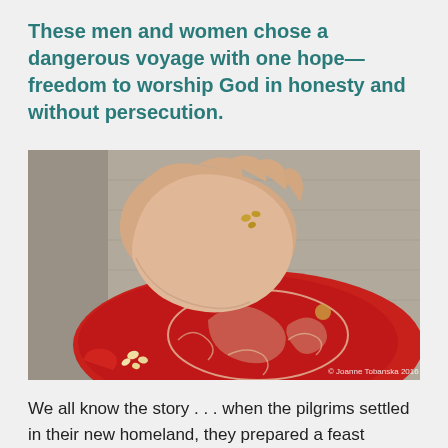These men and women chose a dangerous voyage with one hope—freedom to worship God in honesty and without persecution.
[Figure (photo): A hand holding small kernels or seeds over a red decorative plate with floral pattern, resting on a textured surface. Photo credit: © Joanne Tobanska 2016]
We all know the story . . . when the pilgrims settled in their new homeland, they prepared a feast